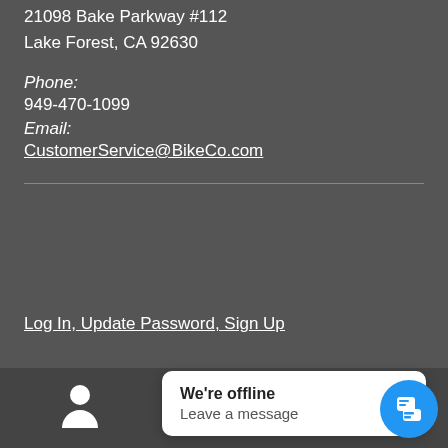21098 Bake Parkway #112
Lake Forest, CA 92630
Phone:
949-470-1099
Email:
CustomerService@BikeCo.com
Log In, Update Password, Sign Up
We're offline
Leave a message